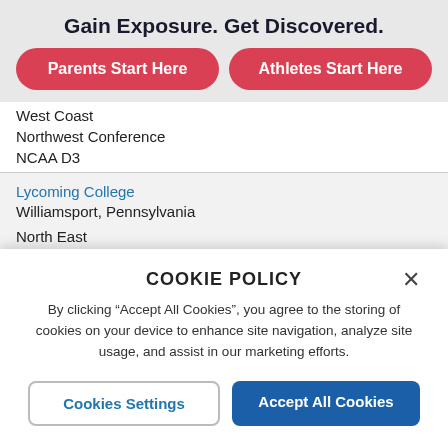Gain Exposure. Get Discovered.
Parents Start Here
Athletes Start Here
West Coast
Northwest Conference
NCAA D3
Lycoming College
Williamsport, Pennsylvania
North East
Middle Atlantic Conferences
NCAA D3
COOKIE POLICY
By clicking “Accept All Cookies”, you agree to the storing of cookies on your device to enhance site navigation, analyze site usage, and assist in our marketing efforts.
Cookies Settings
Accept All Cookies